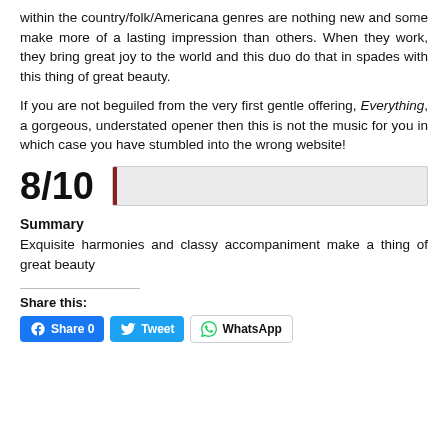within the country/folk/Americana genres are nothing new and some make more of a lasting impression than others. When they work, they bring great joy to the world and this duo do that in spades with this thing of great beauty.
If you are not beguiled from the very first gentle offering, Everything, a gorgeous, understated opener then this is not the music for you in which case you have stumbled into the wrong website!
8/10
[Figure (other): Rating bar showing a narrow dark red fill on the left of a light grey horizontal bar, representing a score indicator.]
Summary
Exquisite harmonies and classy accompaniment make a thing of great beauty
Share this:
Share 0  Tweet  WhatsApp